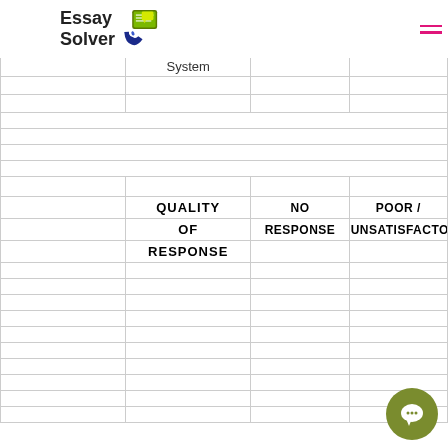[Figure (logo): Essay Solver logo with phone and chat icon]
|  | System |  |  |
| --- | --- | --- | --- |
|  |  |  |  |
|  |  |  |  |
| QUALITY OF RESPONSE | NO RESPONSE | POOR / UNSATISFACTORY |  |
|  |  |  |  |
|  |  |  |  |
|  |  |  |  |
|  |  |  |  |
|  |  |  |  |
|  |  |  |  |
|  |  |  |  |
|  |  |  |  |